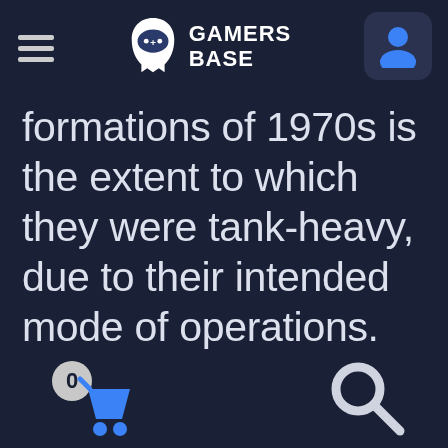GAMERS BASE
formations of 1970s is the extent to which they were tank-heavy, due to their intended mode of operations. Their tactics were closer to US Armored Cavalry Regiments